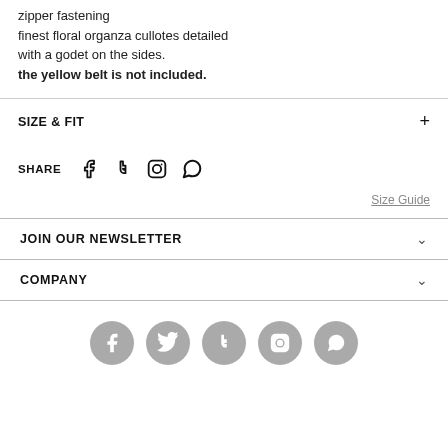zipper fastening
finest floral organza cullotes detailed with a godet on the sides.
the yellow belt is not included.
SIZE & FIT
SHARE
Size Guide
JOIN OUR NEWSLETTER
COMPANY
[Figure (other): Row of 5 grey social media icon circles: Facebook, Twitter, Tumblr, Instagram, WhatsApp]